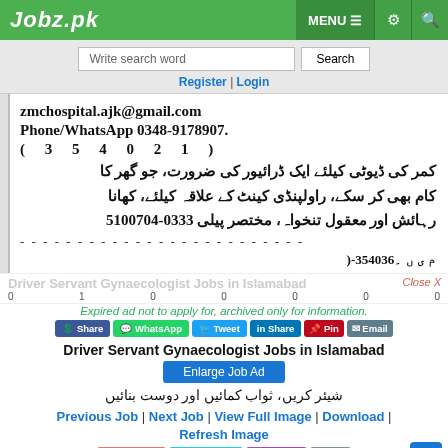Jobz.pk — MENU ☰ ⚙ 🔍
Write search word | Search
Register | Login
[Figure (screenshot): Scanned Urdu newspaper job advertisement clipping showing email zmchospital.ajk@gmail.com, Phone/WhatsApp 0348-9178907, number (35021), Urdu text about driver duty, Rawalpindi/Islamabad area, phone 0333-5100704, salary details. Dashed line and Urdu text at bottom.]
Close X
Driver Servant Gynaecologist Jobs in Islamabad (overlay, faded)
Expired ad not to apply for, archived only for information.
Share | WhatsApp | Tweet | Share | Pin | Email (social buttons)
Driver Servant Gynaecologist Jobs in Islamabad
Enlarge Job Ad
شیئر کریں، ثواب کمائیں اور دوست بنائیں
Previous Job | Next Job | View Full Image | Download | Refresh Image
Original Source: https://e.jang.com.pk/pindi/28-05-2022/page9